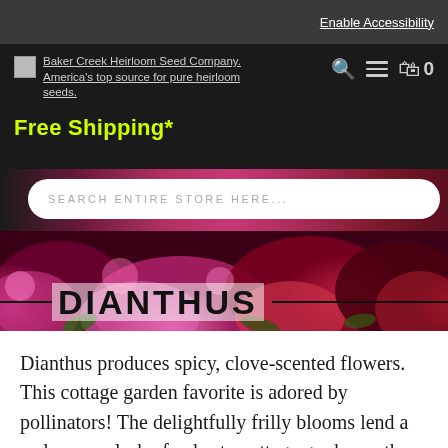Enable Accessibility
[Figure (logo): Baker Creek Heirloom Seed Company logo with navigation icons (search, hamburger menu, shopping bag, cart count 0)]
Free Shipping*
[Figure (screenshot): Search bar with placeholder text 'SEARCH ENTIRE STORE HERE...' overlaid on a dark background with floral imagery]
[Figure (photo): Banner photo of colorful Dianthus flowers (pink and red blooms) with large bold text 'DIANTHUS' overlaid, horizontal lines flanking the text]
Dianthus produces spicy, clove-scented flowers. This cottage garden favorite is adored by pollinators! The delightfully frilly blooms lend a welcome splash of color to cottage garden or the